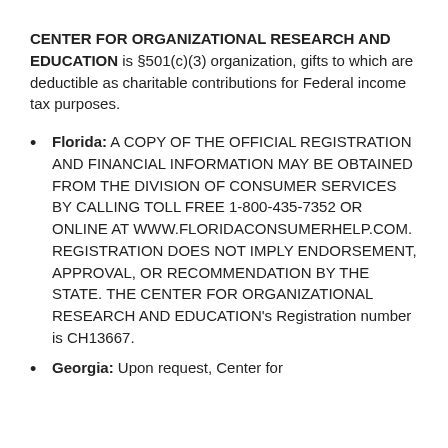CENTER FOR ORGANIZATIONAL RESEARCH AND EDUCATION is §501(c)(3) organization, gifts to which are deductible as charitable contributions for Federal income tax purposes.
Florida: A COPY OF THE OFFICIAL REGISTRATION AND FINANCIAL INFORMATION MAY BE OBTAINED FROM THE DIVISION OF CONSUMER SERVICES BY CALLING TOLL FREE 1-800-435-7352 OR ONLINE AT WWW.FLORIDACONSUMERHELP.COM. REGISTRATION DOES NOT IMPLY ENDORSEMENT, APPROVAL, OR RECOMMENDATION BY THE STATE. THE CENTER FOR ORGANIZATIONAL RESEARCH AND EDUCATION's Registration number is CH13667.
Georgia: Upon request, Center for